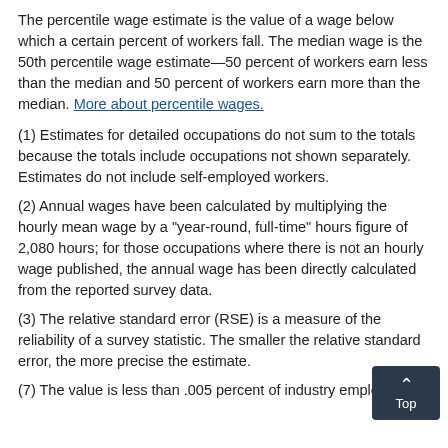The percentile wage estimate is the value of a wage below which a certain percent of workers fall. The median wage is the 50th percentile wage estimate—50 percent of workers earn less than the median and 50 percent of workers earn more than the median. More about percentile wages.
(1) Estimates for detailed occupations do not sum to the totals because the totals include occupations not shown separately. Estimates do not include self-employed workers.
(2) Annual wages have been calculated by multiplying the hourly mean wage by a "year-round, full-time" hours figure of 2,080 hours; for those occupations where there is not an hourly wage published, the annual wage has been directly calculated from the reported survey data.
(3) The relative standard error (RSE) is a measure of the reliability of a survey statistic. The smaller the relative standard error, the more precise the estimate.
(7) The value is less than .005 percent of industry employment.